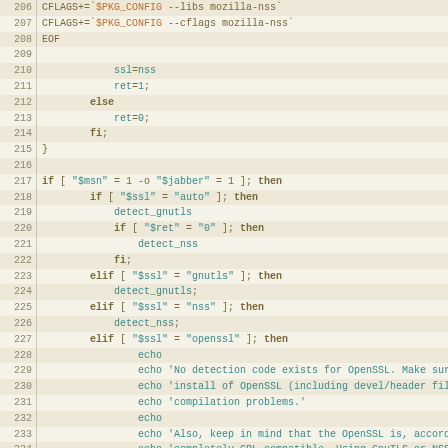[Figure (screenshot): Shell script source code snippet showing lines 206-234, with line numbers in left column and code in right column on a tan/beige background. Code includes SSL/NSS detection logic with if/elif/then/fi constructs.]